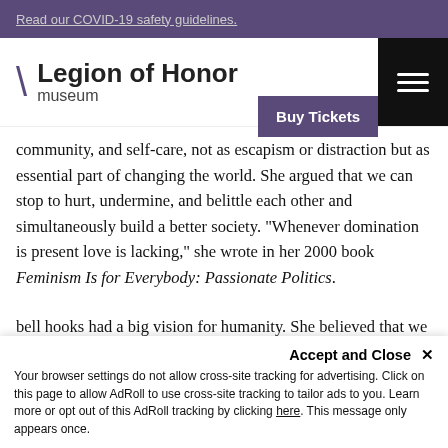Read our COVID-19 safety guidelines.
[Figure (logo): Legion of Honor museum logo with backslash and hamburger menu icon]
community, and self-care, not as escapism or distraction but as essential part of changing the world. She argued that we can stop to hurt, undermine, and belittle each other and simultaneously build a better society. “Whenever domination is present love is lacking,” she wrote in her 2000 book Feminism Is for Everybody: Passionate Politics.
bell hooks had a big vision for humanity. She believed that we are all connected but also that we cannot ignore our inequalities and privileges. “The soul of our politics,” she said, “is the commitment to ending domination.” She insisted that all of our relationships must be built on a foundation of mutual respect. She diagnosed that our societies are lacking in love and the only way to heal this situation is with femi...
Accept and Close ×
Your browser settings do not allow cross-site tracking for advertising. Click on this page to allow AdRoll to use cross-site tracking to tailor ads to you. Learn more or opt out of this AdRoll tracking by clicking here. This message only appears once.